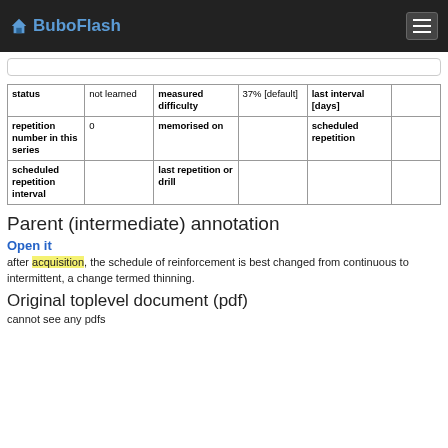BuboFlash
| status | not learned | measured difficulty | 37% [default] | last interval [days] |  |
| repetition number in this series | 0 | memorised on |  | scheduled repetition |  |
| scheduled repetition interval |  | last repetition or drill |  |  |  |
Parent (intermediate) annotation
Open it
after acquisition, the schedule of reinforcement is best changed from continuous to intermittent, a change termed thinning.
Original toplevel document (pdf)
cannot see any pdfs